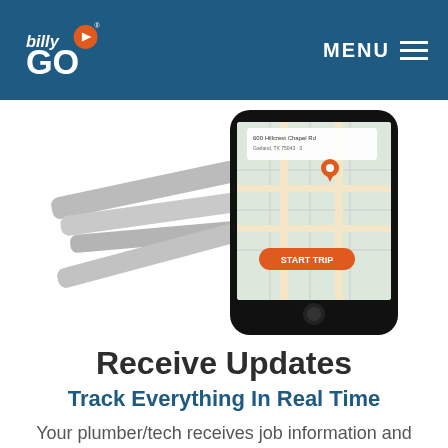billyGO — MENU
[Figure (screenshot): Smartphone showing a map with location pin and orange START TRIP button, with wrenches/tools visible behind the phone]
Receive Updates
Track Everything In Real Time
Your plumber/tech receives job information and sends you a confirmation message with name and photo. You can track location and arrival status. We arrive within one hour of scheduled time or we...